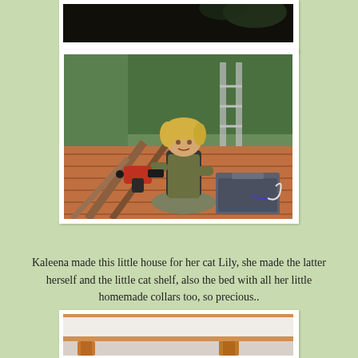[Figure (photo): Partial top photo showing dark outdoor scene, partially cropped at top of page]
[Figure (photo): Child (Kaleena) sitting cross-legged on a wooden deck/platform outdoors, with a red power drill nearby and a toolbox, surrounded by sticks and logs, trees in background]
Kaleena made this little house for her cat Lily, she made the latter herself and the little cat shelf, also the bed with all her little homemade collars too, so precious..
[Figure (photo): Partial bottom photo showing interior of a small cat house with white walls and wooden shelf structures, partially visible at bottom of page]